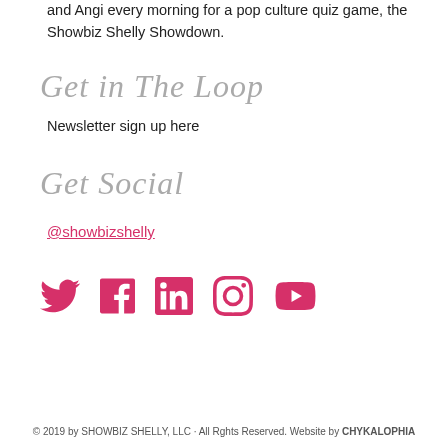and Angi every morning for a pop culture quiz game, the Showbiz Shelly Showdown.
Get in The Loop
Newsletter sign up here
Get Social
@showbizshelly
[Figure (other): Social media icons: Twitter, Facebook, LinkedIn, Instagram, YouTube — all in pink/red color]
© 2019 by SHOWBIZ SHELLY, LLC · All Rghts Reserved. Website by CHYKALOPHIA